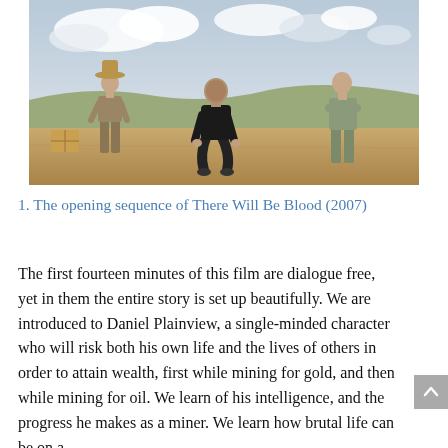[Figure (photo): A still from the film 'There Will Be Blood' (2007) showing three men in a desert landscape. One man in a hat stands to the left, another man crouches in the center dressed in dark clothes, and a third man stands to the right with arms crossed.]
1. The opening sequence of There Will Be Blood (2007)
The first fourteen minutes of this film are dialogue free, yet in them the entire story is set up beautifully. We are introduced to Daniel Plainview, a single-minded character who will risk both his own life and the lives of others in order to attain wealth, first while mining for gold, and then while mining for oil. We learn of his intelligence, and the progress he makes as a miner. We learn how brutal life can be on a